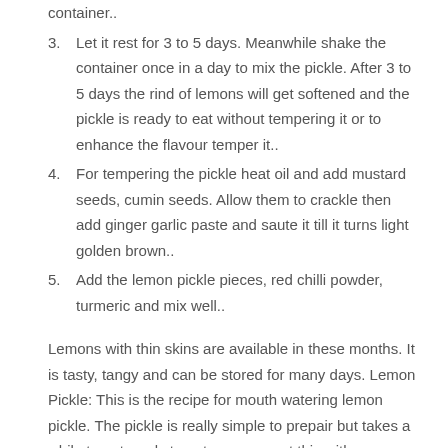container..
3. Let it rest for 3 to 5 days. Meanwhile shake the container once in a day to mix the pickle. After 3 to 5 days the rind of lemons will get softened and the pickle is ready to eat without tempering it or to enhance the flavour temper it..
4. For tempering the pickle heat oil and add mustard seeds, cumin seeds. Allow them to crackle then add ginger garlic paste and saute it till it turns light golden brown..
5. Add the lemon pickle pieces, red chilli powder, turmeric and mix well..
Lemons with thin skins are available in these months. It is tasty, tangy and can be stored for many days. Lemon Pickle: This is the recipe for mouth watering lemon pickle. The pickle is really simple to prepair but takes a while to get ready to eat. you can eat this with every meal. my mother gives me. Lemon Pickle is my all time favourite pickle.
A recipe is a nice story that ends with a delicious meal. If you find